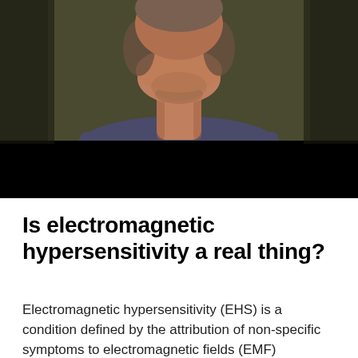[Figure (photo): A man wearing a dark navy/grey t-shirt photographed from the chest up against a dark olive/brown background. The lower portion of the image is covered by a solid black bar.]
Is electromagnetic hypersensitivity a real thing?
Electromagnetic hypersensitivity (EHS) is a condition defined by the attribution of non-specific symptoms to electromagnetic fields (EMF)